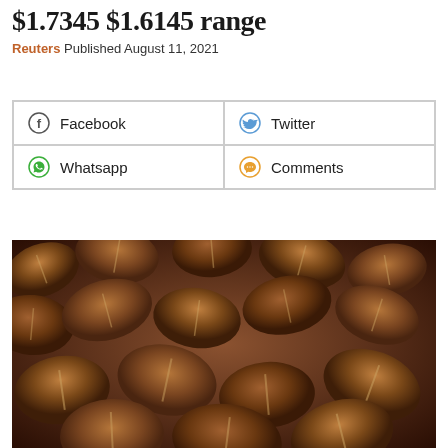$1.7345  $1.6145 range
Reuters Published August 11, 2021
[Figure (other): Share buttons grid: Facebook, Twitter, Whatsapp, Comments]
[Figure (photo): Close-up photograph of roasted coffee beans filling the entire frame]